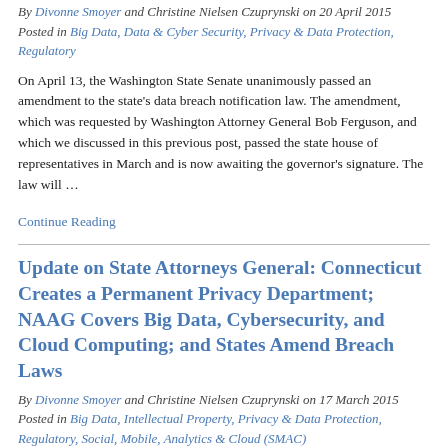By Divonne Smoyer and Christine Nielsen Czuprynski on 20 April 2015
Posted in Big Data, Data & Cyber Security, Privacy & Data Protection, Regulatory
On April 13, the Washington State Senate unanimously passed an amendment to the state's data breach notification law. The amendment, which was requested by Washington Attorney General Bob Ferguson, and which we discussed in this previous post, passed the state house of representatives in March and is now awaiting the governor's signature. The law will …
Continue Reading
Update on State Attorneys General: Connecticut Creates a Permanent Privacy Department; NAAG Covers Big Data, Cybersecurity, and Cloud Computing; and States Amend Breach Laws
By Divonne Smoyer and Christine Nielsen Czuprynski on 17 March 2015
Posted in Big Data, Intellectual Property, Privacy & Data Protection, Regulatory, Social, Mobile, Analytics & Cloud (SMAC)
The federal government may be pushing a cybersecurity and data…